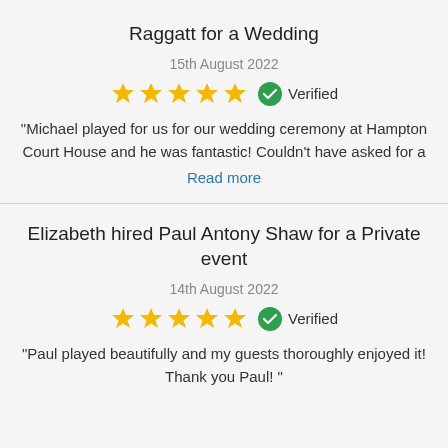Raggatt for a Wedding
15th August 2022
[Figure (infographic): 5 gold stars and a green verified badge with text 'Verified']
“Michael played for us for our wedding ceremony at Hampton Court House and he was fantastic! Couldn’t have asked for a
Read more
Elizabeth hired Paul Antony Shaw for a Private event
14th August 2022
[Figure (infographic): 5 gold stars and a green verified badge with text 'Verified']
“Paul played beautifully and my guests thoroughly enjoyed it! Thank you Paul! ”